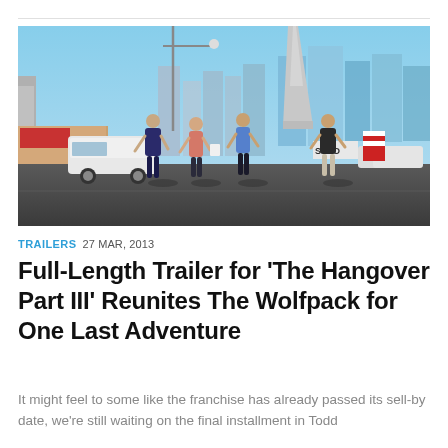[Figure (photo): Four men walking across a street in Las Vegas, with city skyline and a tall spire/needle tower visible in the background. A white van is parked on the left. Shops and signs visible on both sides.]
TRAILERS 27 MAR, 2013
Full-Length Trailer for ‘The Hangover Part III’ Reunites The Wolfpack for One Last Adventure
It might feel to some like the franchise has already passed its sell-by date, we’re still waiting on the final installment in Todd